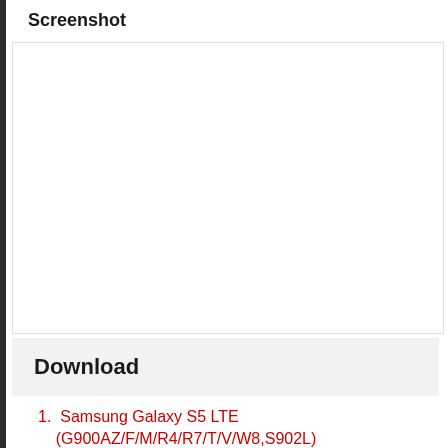Screenshot
Download
Samsung Galaxy S5 LTE (G900AZ/F/M/R4/R7/T/V/W8,S902L)